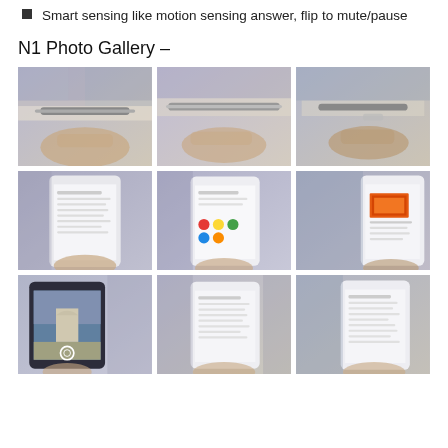Smart sensing like motion sensing answer, flip to mute/pause
N1 Photo Gallery –
[Figure (photo): 3x3 grid of photos showing a smartphone (Nokia N1) being held in various orientations and displaying various screens, taken at what appears to be a product launch event.]